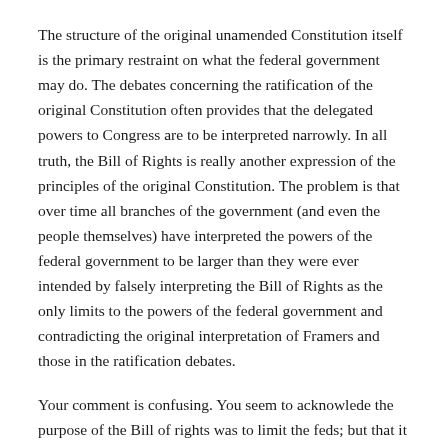The structure of the original unamended Constitution itself is the primary restraint on what the federal government may do. The debates concerning the ratification of the original Constitution often provides that the delegated powers to Congress are to be interpreted narrowly. In all truth, the Bill of Rights is really another expression of the principles of the original Constitution. The problem is that over time all branches of the government (and even the people themselves) have interpreted the powers of the federal government to be larger than they were ever intended by falsely interpreting the Bill of Rights as the only limits to the powers of the federal government and contradicting the original interpretation of Framers and those in the ratification debates.
Your comment is confusing. You seem to acknowlede the purpose of the Bill of rights was to limit the feds; but that it